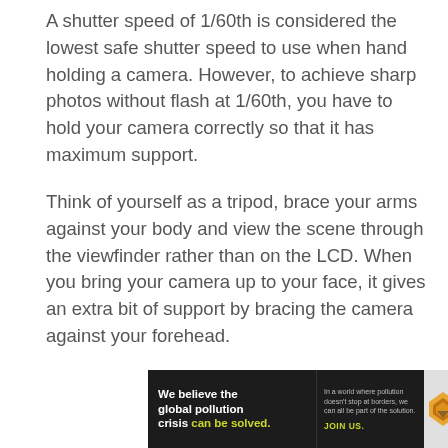A shutter speed of 1/60th is considered the lowest safe shutter speed to use when hand holding a camera. However, to achieve sharp photos without flash at 1/60th, you have to hold your camera correctly so that it has maximum support.
Think of yourself as a tripod, brace your arms against your body and view the scene through the viewfinder rather than on the LCD. When you bring your camera up to your face, it gives an extra bit of support by bracing the camera against your forehead.
[Figure (other): Advertisement banner for Pure Earth organization. Dark background on left with bold white text 'We believe the global pollution crisis can be solved.' (with 'can be solved.' in yellow-green). Center column with small text 'In a world where pollution doesn't stop at borders, we can all be part of the solution. JOIN US.' Right section has light grey background with Pure Earth logo (diamond/arrow icon) and 'PURE EARTH' text.]